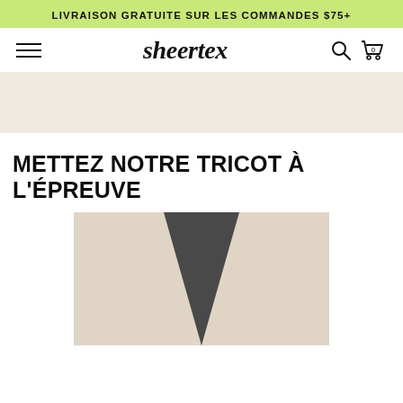LIVRAISON GRATUITE SUR LES COMMANDES $75+
[Figure (screenshot): Sheertex website navigation bar with hamburger menu on left, sheertex logo in center, search and cart icons on right]
[Figure (photo): Beige/cream colored strip banner area]
METTEZ NOTRE TRICOT À L'ÉPREUVE
[Figure (photo): Product photo showing dark gray/charcoal knit tights or leggings against a beige background, with a triangular shape visible from below]